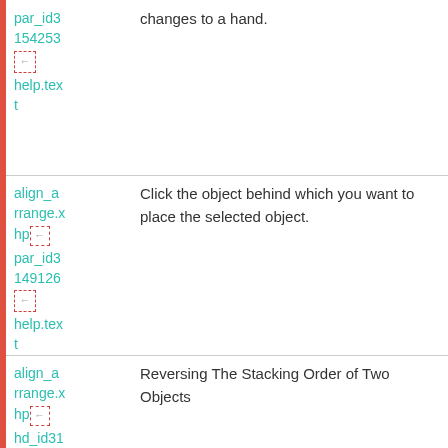| par_id3
154253
[icon]
help.text | changes to a hand. |
| align_arrange.xhp
par_id3
149126
[icon]
help.text | Click the object behind which you want to place the selected object. |
| align_arrange.xhp
hd_id31
45789[icon] | Reversing The Stacking Order of Two Objects |